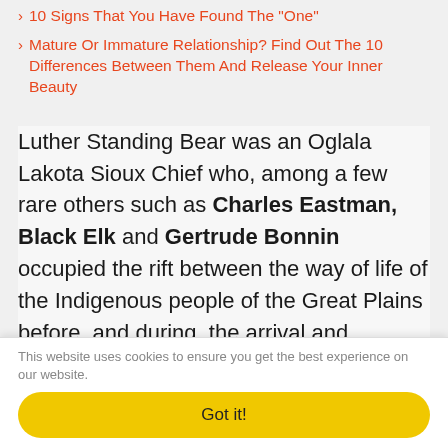10 Signs That You Have Found The "One"
Mature Or Immature Relationship? Find Out The 10 Differences Between Them And Release Your Inner Beauty
Luther Standing Bear was an Oglala Lakota Sioux Chief who, among a few rare others such as Charles Eastman, Black Elk and Gertrude Bonnin occupied the rift between the way of life of the Indigenous people of the Great Plains before, and during, the arrival and subsequent spread of the European pioneers. Raised in the traditions of his people until the age of eleven, he was then educated at the Carlisle Indian Industrial Boarding School of Pennsylvania, where
This website uses cookies to ensure you get the best experience on our website.
Got it!